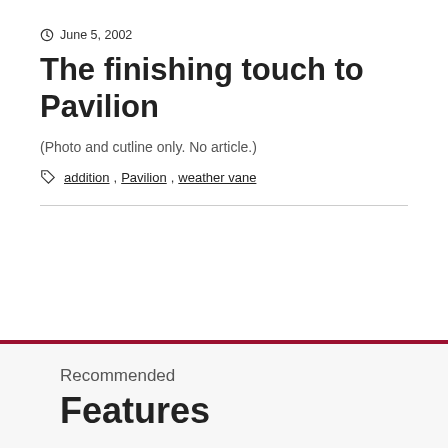June 5, 2002
The finishing touch to Pavilion
(Photo and cutline only. No article.)
addition, Pavilion, weather vane
Recommended
Features